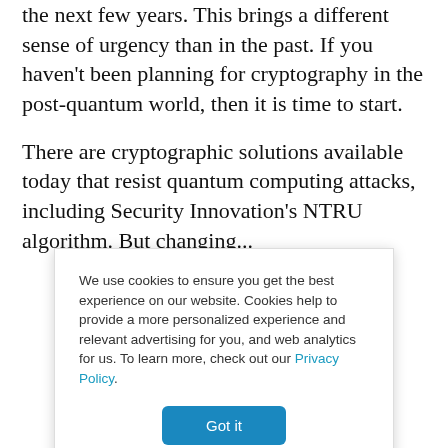the next few years. This brings a different sense of urgency than in the past. If you haven't been planning for cryptography in the post-quantum world, then it is time to start.
There are cryptographic solutions available today that resist quantum computing attacks, including Security Innovation's NTRU algorithm. But changing...
We use cookies to ensure you get the best experience on our website. Cookies help to provide a more personalized experience and relevant advertising for you, and web analytics for us. To learn more, check out our Privacy Policy.